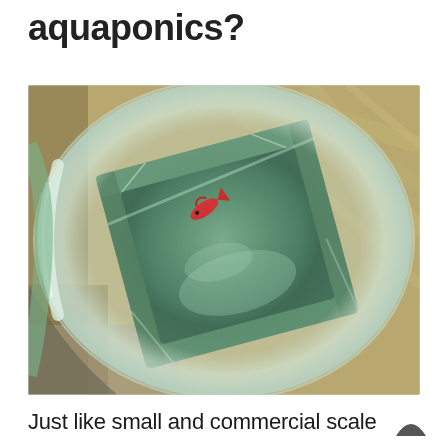aquaponics?
[Figure (photo): Top-down view through a round glass vessel (fishbowl or jar) looking down into a square green plastic container with water. A small red fish (betta or goldfish) is visible inside the square container. The background shows a wooden surface. The image has blurred circular glass edges from the fishbowl perspective.]
Just like small and commercial scale